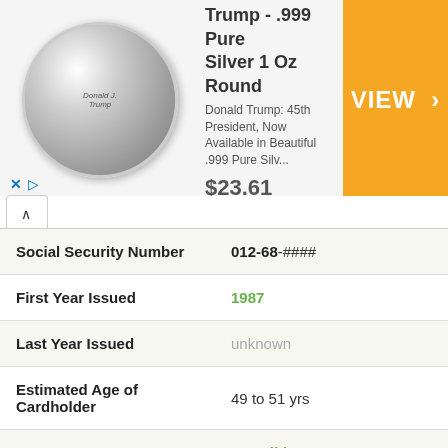[Figure (infographic): Advertisement banner for President Trump .999 Pure Silver 1 Oz Round coin. Shows coin image, product title, description, price $23.61, and orange VIEW button. Money Metals Exchange ad.]
| Field | Value |
| --- | --- |
| Social Security Number | 012-68-#### |
| First Year Issued | 1987 |
| Last Year Issued | unknown |
| Estimated Age of Cardholder | 49 to 51 yrs |
| Valid | ✓ Valid |
| Social Security Number | 012-70-#### |
| First Year Issued | 1988 |
| Last Year Issued | unknown |